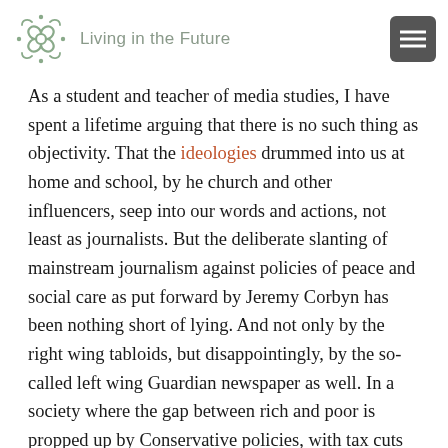Living in the Future
As a student and teacher of media studies, I have spent a lifetime arguing that there is no such thing as objectivity. That the ideologies drummed into us at home and school, by he church and other influencers, seep into our words and actions, not least as journalists. But the deliberate slanting of mainstream journalism against policies of peace and social care as put forward by Jeremy Corbyn has been nothing short of lying. And not only by the right wing tabloids, but disappointingly, by the so-called left wing Guardian newspaper as well. In a society where the gap between rich and poor is propped up by Conservative policies, with tax cuts for the wealthy and companies evading payments though they benefit both from the people and the  infrastructure of the country, it's not hard to see why a vote for the Tories is a vote to maintain the status quo.